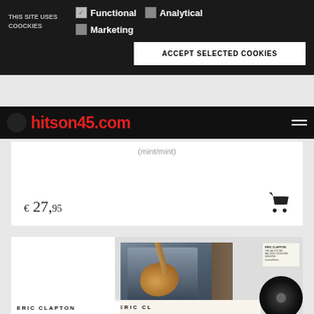THIS SITE USES COOCKIES
Functional
Analytical
Marketing
ACCEPT SELECTED COOKIES
hitson45.com
(mint/mint)
€ 27,95
[Figure (photo): Eric Clapton album cover showing a man playing acoustic guitar indoors, with album text at the bottom reading ERIC CLAPTON]
ERIC CLAPTON